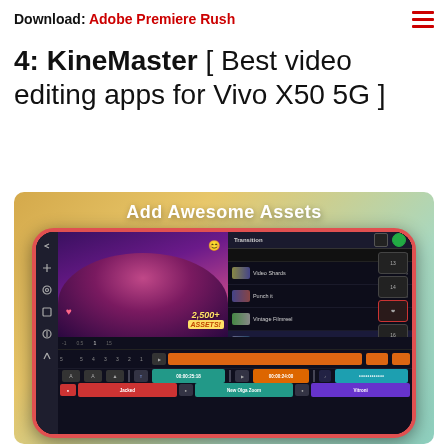Download: Adobe Premiere Rush
4: KineMaster [ Best video editing apps for Vivo X50 5G ]
[Figure (screenshot): KineMaster video editing app screenshot showing 'Add Awesome Assets' banner with phone mockup displaying the app interface with video preview, transitions panel (Video Shards, Punch it, Vintage Filmreel, Focus Switch, 3D Multiview), timeline tracks, and 2,500+ Assets badge]